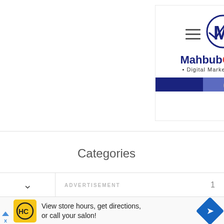[Figure (logo): MahbubOsmane Digital Marketing Agency logo with stylized M icon and red arrow, dark blue and red color scheme, with website bar showing www.mahbubosmane.com]
[Figure (other): Hamburger menu icon (three horizontal lines)]
Categories
ADVERTISEMENT  1
[Figure (other): Advertisement banner: HC salon logo with text 'View store hours, get directions, or call your salon!' and blue navigation arrow icon]